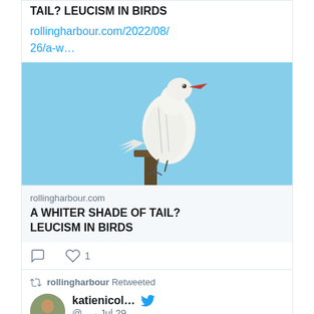TAIL? LEUCISM IN BIRDS
rollingharbour.com/2022/08/26/a-w…
[Figure (photo): White leucistic bird perched on a post against a blue sky background]
rollingharbour.com
A WHITER SHADE OF TAIL? LEUCISM IN BIRDS
[Figure (other): Comment icon and heart/like icon with count 1]
rollingharbour Retweeted
[Figure (photo): Profile avatar of katienicol - person with bicycle]
katienicol… @… · Jul 29
#WDCShorewatch are excited to be working with